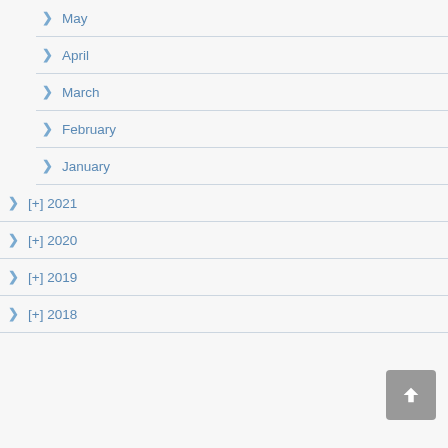> May
> April
> March
> February
> January
> [+] 2021
> [+] 2020
> [+] 2019
> [+] 2018